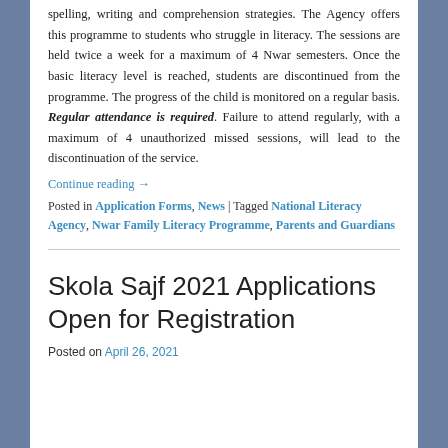spelling, writing and comprehension strategies. The Agency offers this programme to students who struggle in literacy. The sessions are held twice a week for a maximum of 4 Nwar semesters. Once the basic literacy level is reached, students are discontinued from the programme. The progress of the child is monitored on a regular basis. Regular attendance is required. Failure to attend regularly, with a maximum of 4 unauthorized missed sessions, will lead to the discontinuation of the service.
Continue reading →
Posted in Application Forms, News | Tagged National Literacy Agency, Nwar Family Literacy Programme, Parents and Guardians
Skola Sajf 2021 Applications Open for Registration
Posted on April 26, 2021